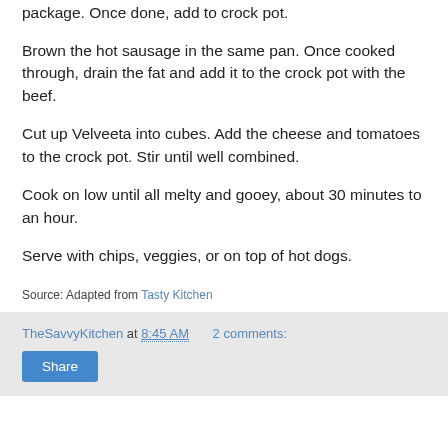package. Once done, add to crock pot.
Brown the hot sausage in the same pan. Once cooked through, drain the fat and add it to the crock pot with the beef.
Cut up Velveeta into cubes. Add the cheese and tomatoes to the crock pot. Stir until well combined.
Cook on low until all melty and gooey, about 30 minutes to an hour.
Serve with chips, veggies, or on top of hot dogs.
Source: Adapted from Tasty Kitchen
TheSavvyKitchen at 8:45 AM   2 comments: